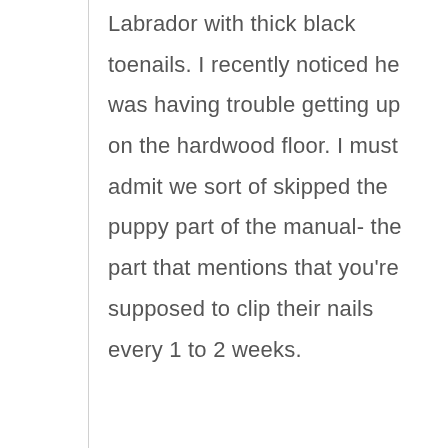Labrador with thick black toenails. I recently noticed he was having trouble getting up on the hardwood floor. I must admit we sort of skipped the puppy part of the manual- the part that mentions that you're supposed to clip their nails every 1 to 2 weeks.

So I laid him in the tub on the bath mat. I watched a couple